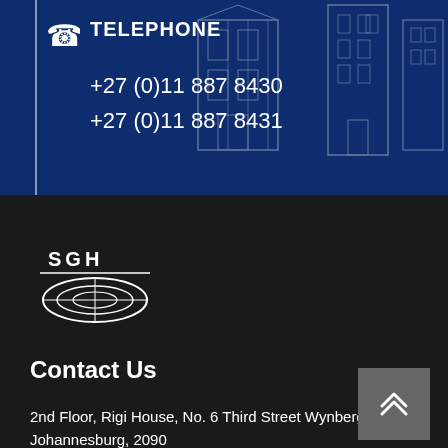TELEPHONE
+27 (0)11 887 8430
+27 (0)11 887 8431
[Figure (logo): SGH company logo — white text SGH above a stylized oval/globe graphic on dark background]
Contact Us
2nd Floor, Rigi House, No. 6 Third Street Wynberg, Johannesburg, 2090